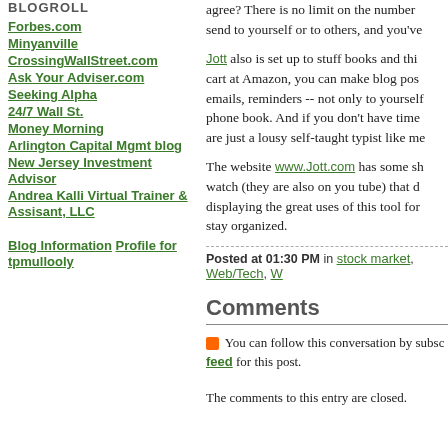BLOGROLL
Forbes.com
Minyanville
CrossingWallStreet.com
Ask Your Adviser.com
Seeking Alpha
24/7 Wall St.
Money Morning
Arlington Capital Mgmt blog
New Jersey Investment Advisor
Andrea Kalli Virtual Trainer & Assisant, LLC
Blog Information  Profile for tpmullooly
agree? There is no limit on the number send to yourself or to others, and you've
Jott also is set up to stuff books and thi cart at Amazon, you can make blog pos emails, reminders -- not only to yourself phone book. And if you don't have time are just a lousy self-taught typist like me
The website www.Jott.com has some sh watch (they are also on you tube) that d displaying the great uses of this tool for stay organized.
Posted at 01:30 PM in stock market, Web/Tech,
Comments
You can follow this conversation by subsc feed for this post.
The comments to this entry are closed.